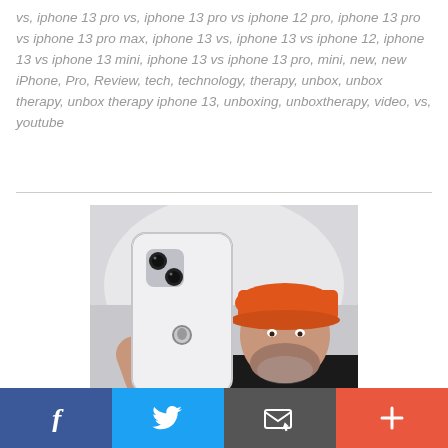vs, iphone 13 pro vs, iphone 13 pro vs iphone 12 pro, iphone 13 pro vs iphone 13 pro max, iphone 13 vs, iphone 13 vs iphone 12, iphone 13 vs iphone 13 mini, iphone 13 vs iphone 13 pro, mini, new, new iPhone, Pro, Review, tech, technology, therapy, unbox, unbox therapy, unbox therapy iphone 13, unboxing, unboxtherapy, video, vs, youtube
[Figure (photo): A man wearing an orange baseball cap and black shirt holds up an iPhone (back facing camera) against a light grey background.]
Facebook | Twitter | Email | +